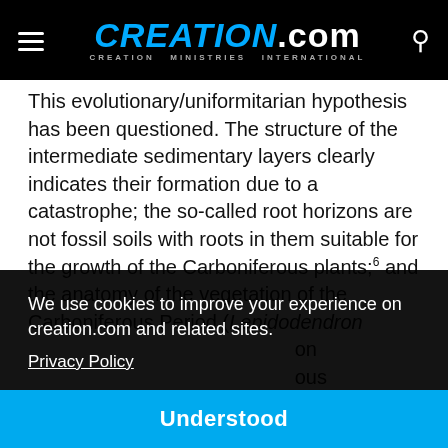CREATION.com — CREATION MINISTRIES INTERNATIONAL
This evolutionary/uniformitarian hypothesis has been questioned. The structure of the intermediate sedimentary layers clearly indicates their formation due to a catastrophe; the so-called root horizons are not fossil soils with roots in them suitable for the growth of the Carboniferous plants;6 and the anatomy of the vegetation of the Carboniferous Period (Lepidodendron ... on ... ous ... est, an ... ests ... ven's proposal ...
We use cookies to improve your experience on creation.com and related sites. Privacy Policy
Understood